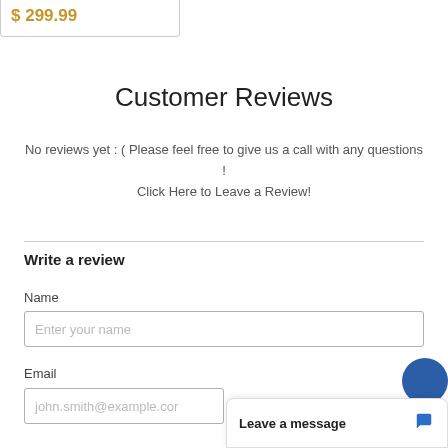$ 299.99
Customer Reviews
No reviews yet : ( Please feel free to give us a call with any questions !
Click Here to Leave a Review!
Write a review
Name
Enter your name
Email
john.smith@example.com
Leave a message